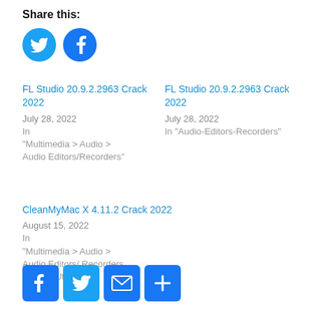Share this:
[Figure (illustration): Twitter and Facebook circle share buttons (blue circles with white icons)]
FL Studio 20.9.2.2963 Crack 2022
July 28, 2022
In "Multimedia > Audio > Audio Editors/Recorders"
FL Studio 20.9.2.2963 Crack 2022
July 28, 2022
In "Audio-Editors-Recorders"
CleanMyMac X 4.11.2 Crack 2022
August 15, 2022
In "Multimedia > Audio > Audio Editors/ Recorders >Mac > Utilities"
[Figure (illustration): Facebook, Twitter, Email, and Share square icon buttons in blue]